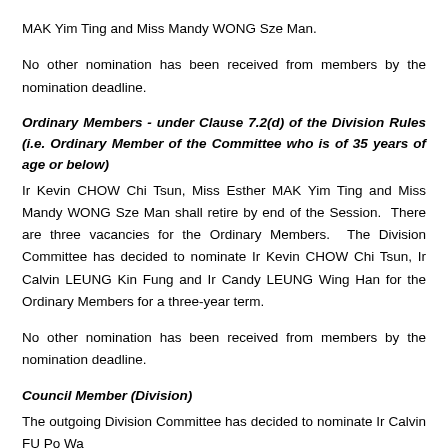MAK Yim Ting and Miss Mandy WONG Sze Man.
No other nomination has been received from members by the nomination deadline.
Ordinary Members - under Clause 7.2(d) of the Division Rules (i.e. Ordinary Member of the Committee who is of 35 years of age or below)
Ir Kevin CHOW Chi Tsun, Miss Esther MAK Yim Ting and Miss Mandy WONG Sze Man shall retire by end of the Session.  There are three vacancies for the Ordinary Members.  The Division Committee has decided to nominate Ir Kevin CHOW Chi Tsun, Ir Calvin LEUNG Kin Fung and Ir Candy LEUNG Wing Han for the Ordinary Members for a three-year term.
No other nomination has been received from members by the nomination deadline.
Council Member (Division)
The outgoing Division Committee has decided to nominate Ir Calvin FU Po Wa...